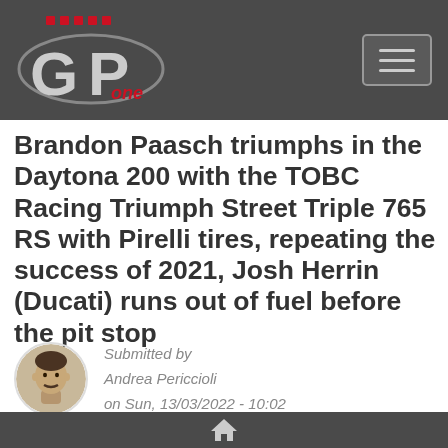GP One - Navigation header with logo and menu button
Brandon Paasch triumphs in the Daytona 200 with the TOBC Racing Triumph Street Triple 765 RS with Pirelli tires, repeating the success of 2021, Josh Herrin (Ducati) runs out of fuel before the pit stop
Submitted by Andrea Periccioli on Sun, 13/03/2022 - 10:02
Motoamerica
Daytona 200
Daytona International Speedway
Brandon Paasch
Triumph